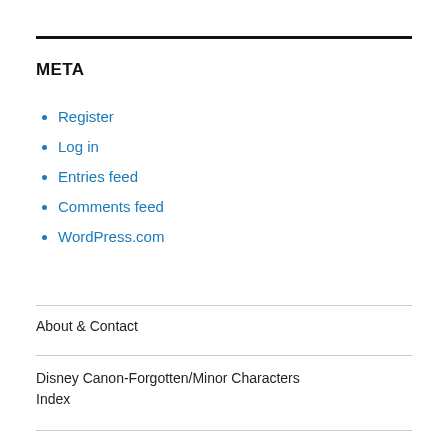META
Register
Log in
Entries feed
Comments feed
WordPress.com
About & Contact
Disney Canon-Forgotten/Minor Characters Index